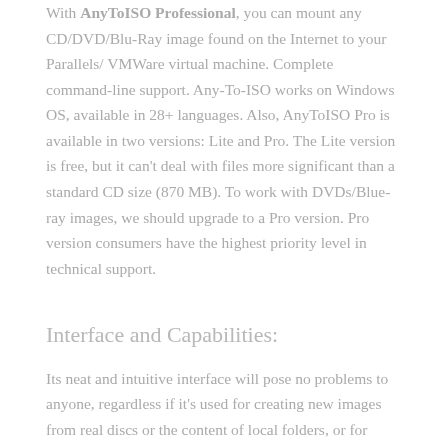With AnyToISO Professional, you can mount any CD/DVD/Blu-Ray image found on the Internet to your Parallels/ VMWare virtual machine. Complete command-line support. Any-To-ISO works on Windows OS, available in 28+ languages. Also, AnyToISO Pro is available in two versions: Lite and Pro. The Lite version is free, but it can't deal with files more significant than a standard CD size (870 MB). To work with DVDs/Blue-ray images, we should upgrade to a Pro version. Pro version consumers have the highest priority level in technical support.
Interface and Capabilities:
Its neat and intuitive interface will pose no problems to anyone, regardless if it's used for creating new images from real discs or the content of local folders, or for extracting the contents of existing Images. Converting among different image formats...